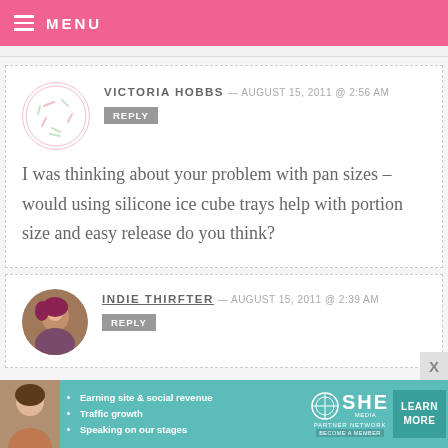MENU
VICTORIA HOBBS — AUGUST 15, 2011 @ 2:56 AM REPLY

I was thinking about your problem with pan sizes – would using silicone ice cube trays help with portion size and easy release do you think?
INDIE THIRFTER — AUGUST 15, 2011 @ 2:39 AM REPLY